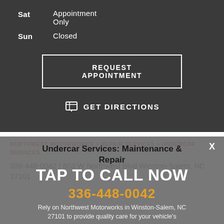Sat    Appointment Only
Sun    Closed
REQUEST APPOINTMENT
GET DIRECTIONS
NORTHWEST MOTORWORKS > REPAIR SERVICES > UNDERCAR SERVICES
336-448-0042 | 803 W Northwest Blvd Winston-Salem, NC 27101
Undercar Services: Maintenance & Repair
TAP TO CALL NOW
336-448-0042
Rely on Northwest Motorworks in Winston-Salem, NC 27101 to provide quality care for your vehicle's